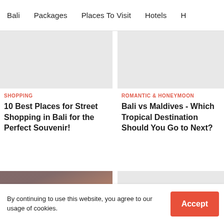Bali | Packages | Places To Visit | Hotels | H
[Figure (photo): Gray placeholder image for shopping article]
SHOPPING
10 Best Places for Street Shopping in Bali for the Perfect Souvenir!
[Figure (photo): Gray placeholder image for romantic & honeymoon article]
ROMANTIC & HONEYMOON
Bali vs Maldives - Which Tropical Destination Should You Go to Next?
[Figure (photo): Photo of person in colorful Balinese traditional costume/outfit]
ART & CULTURE
[Figure (photo): Gray placeholder image for travel tips article]
TRAVEL TIPS
By continuing to use this website, you agree to our usage of cookies.